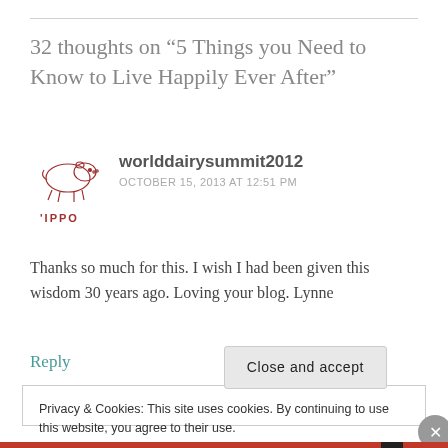32 thoughts on “5 Things you Need to Know to Live Happily Ever After”
worlddairysummit2012
OCTOBER 15, 2013 AT 12:51 PM
Thanks so much for this. I wish I had been given this wisdom 30 years ago. Loving your blog. Lynne
Reply
Privacy & Cookies: This site uses cookies. By continuing to use this website, you agree to their use.
To find out more, including how to control cookies, see here: Cookie Policy
Close and accept